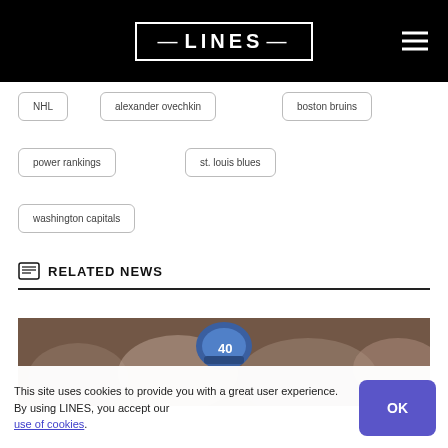LINES
NHL
alexander ovechkin
boston bruins
power rankings
st. louis blues
washington capitals
RELATED NEWS
[Figure (photo): Hockey player wearing blue helmet, crowd in background]
This site uses cookies to provide you with a great user experience. By using LINES, you accept our use of cookies.